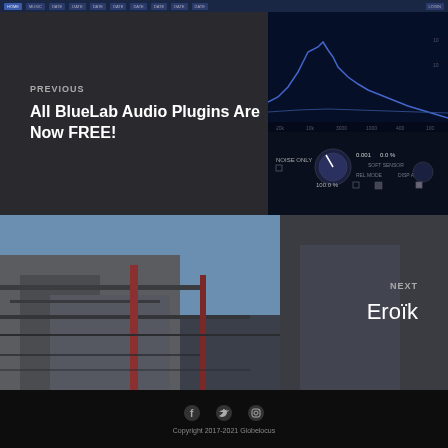Navigation bar with tabs
[Figure (screenshot): Audio plugin UI showing spectrum analyzer and noise controls with knobs and parameters]
PREVIOUS
All BlueLab Audio Plugins Are Now FREE!
[Figure (photo): Street or building exterior photo with blue sky, muted colors]
NEXT
Eroïk
[Figure (infographic): Social media icons: Facebook, Twitter, Instagram]
Copyright 2017-2021 Globelocus